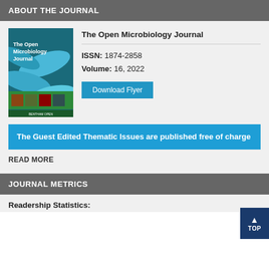ABOUT THE JOURNAL
[Figure (illustration): Cover of The Open Microbiology Journal showing blue/teal bacteria on dark background with small photographs strip]
The Open Microbiology Journal
ISSN: 1874-2858
Volume: 16, 2022
Download Flyer
The Guest Edited Thematic Issues are published free of charge
READ MORE
JOURNAL METRICS
Readership Statistics: